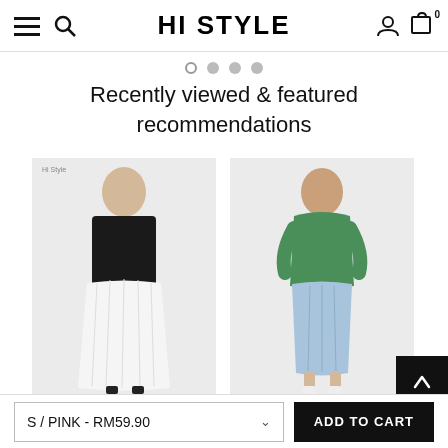HI STYLE — navigation header with hamburger, search, user, and cart icons
Recently viewed & featured recommendations
[Figure (photo): Product photo of Women Pleated Long Skirt in White — model wearing black top and white pleated maxi skirt]
Women Pleated Long Skirt - Whit...
RM55.90
Add to cart
[Figure (photo): Product photo of Women Denim Long Skirt in Light blue — model wearing green top and light blue denim midi skirt]
Women Denim Long Skirt - Light...
RM59.90
Add to cart
S / PINK - RM59.90   ADD TO CART